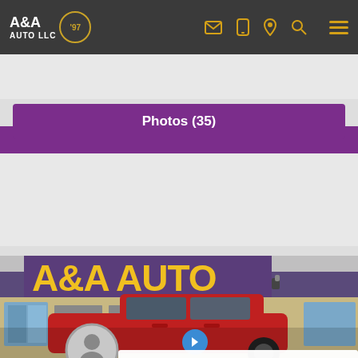[Figure (logo): A&A Auto LLC logo with '97 badge on dark gray navigation bar with gold icons]
SEARCH FILTERS
Photos (35)
[Figure (logo): AutoCheck - A part of Experian logo]
[Figure (photo): A&A Auto dealership exterior with large yellow A&A AUTO signage and red Ford F-150 truck in foreground]
TEXT US WE ARE HERE TO HELP